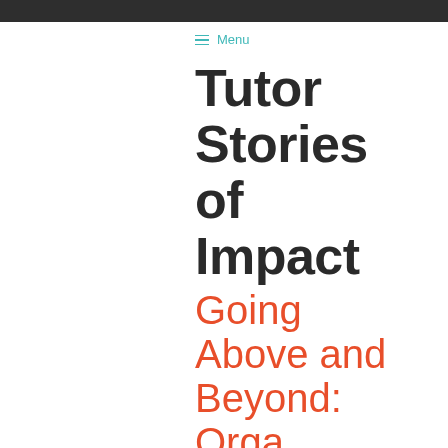Menu
Tutor Stories of Impact
Going Above and Beyond: Orga...